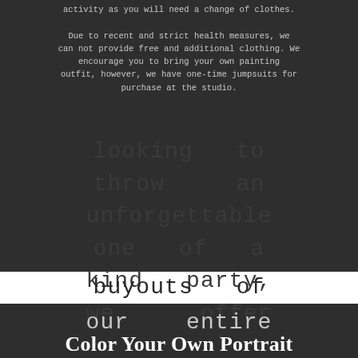activity as you will need a change of clothes.

Due to recent and strict health measures, we can not provide free and additional clothing. We encourage you to bring your own painting outfit, however, we have one-time jumpsuits for purchase at the studio.
looking to throw an unforgettable one of a kind party, we offer buyouts of our entire Color Your Own Portrait